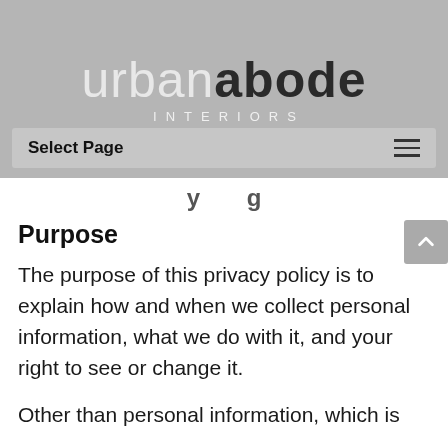[Figure (logo): Urban Abode Interiors logo with text 'urbanabode' in large mixed-weight font and 'INTERIORS' in spaced capitals below, on a grey banner background]
Select Page
Purpose
The purpose of this privacy policy is to explain how and when we collect personal information, what we do with it, and your right to see or change it.
Other than personal information, which is